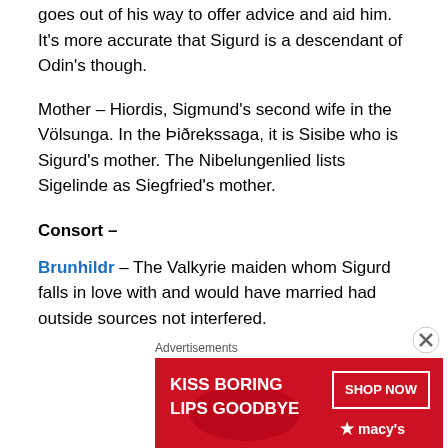goes out of his way to offer advice and aid him. It's more accurate that Sigurd is a descendant of Odin's though.
Mother – Hiordis, Sigmund's second wife in the Völsunga. In the Þiðrekssaga, it is Sisibe who is Sigurd's mother. The Nibelungenlied lists Sigelinde as Siegfried's mother.
Consort –
Brunhildr – The Valkyrie maiden whom Sigurd falls in love with and would have married had outside sources not interfered.
Gudrun – She is who Sigurd marries in the Völsunga. In the Nibelung, her name is Kriemhild.
[Figure (infographic): Advertisement banner for Macy's cosmetics: red background with text 'KISS BORING LIPS GOODBYE' and 'SHOP NOW' button with Macy's star logo]
Advertisements